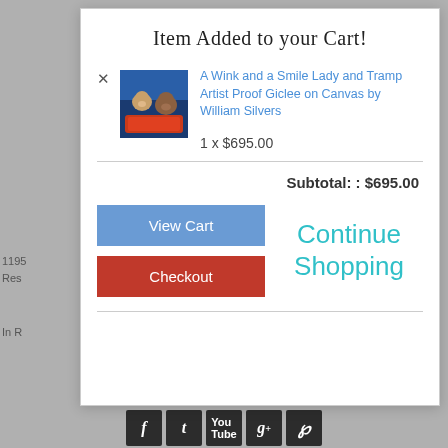Item Added to your Cart!
A Wink and a Smile Lady and Tramp Artist Proof Giclee on Canvas by William Silvers
1  x  $695.00
Subtotal: : $695.00
View Cart
Checkout
Continue Shopping